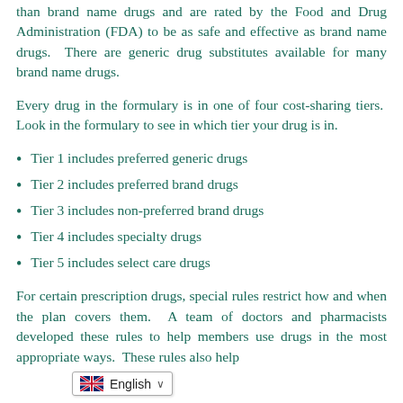than brand name drugs and are rated by the Food and Drug Administration (FDA) to be as safe and effective as brand name drugs. There are generic drug substitutes available for many brand name drugs.
Every drug in the formulary is in one of four cost-sharing tiers. Look in the formulary to see in which tier your drug is in.
Tier 1 includes preferred generic drugs
Tier 2 includes preferred brand drugs
Tier 3 includes non-preferred brand drugs
Tier 4 includes specialty drugs
Tier 5 includes select care drugs
For certain prescription drugs, special rules restrict how and when the plan covers them. A team of doctors and pharmacists developed these rules to help members use dru... e ways. These rules also help